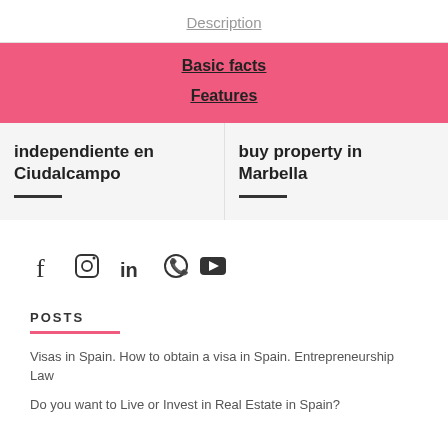Description
Basic facts
Features
independiente en Ciudalcampo
buy property in Marbella
[Figure (other): Social media icons: Facebook, Instagram, LinkedIn, WhatsApp, YouTube]
POSTS
Visas in Spain. How to obtain a visa in Spain. Entrepreneurship Law
Do you want to Live or Invest in Real Estate in Spain?